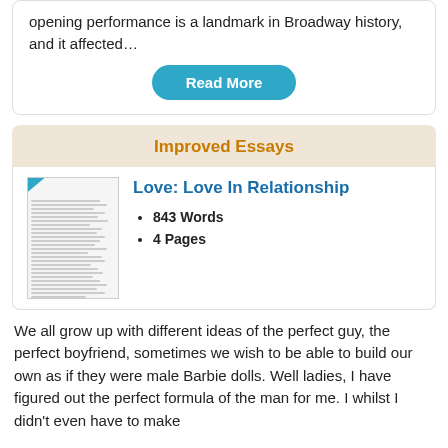opening performance is a landmark in Broadway history, and it affected…
Read More
Improved Essays
[Figure (illustration): Preview thumbnail of an essay document with a diagonal 'Preview' banner in teal]
Love: Love In Relationship
843 Words
4 Pages
We all grow up with different ideas of the perfect guy, the perfect boyfriend, sometimes we wish to be able to build our own as if they were male Barbie dolls. Well ladies, I have figured out the perfect formula of the man for me. I whilst I didn't even have to make